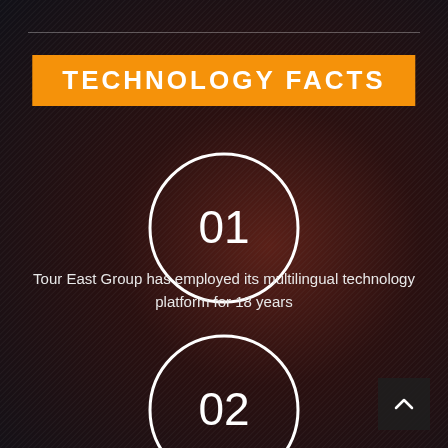TECHNOLOGY FACTS
[Figure (infographic): Circle with number 01 inside, white outlined circle on dark background]
Tour East Group has employed its multilingual technology platform for 18 years
[Figure (infographic): Circle with number 02 inside, white outlined circle on dark background]